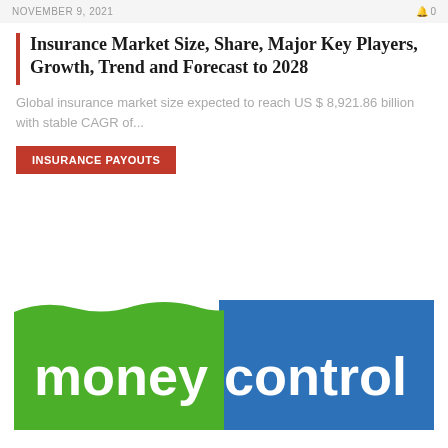NOVEMBER 9, 2021
Insurance Market Size, Share, Major Key Players, Growth, Trend and Forecast to 2028
Global insurance market size expected to reach US $ 8,921.86 billion with stable CAGR of...
INSURANCE PAYOUTS
[Figure (logo): Moneycontrol logo with green left half and blue right half, white text reading 'money' on green and 'control' on blue]